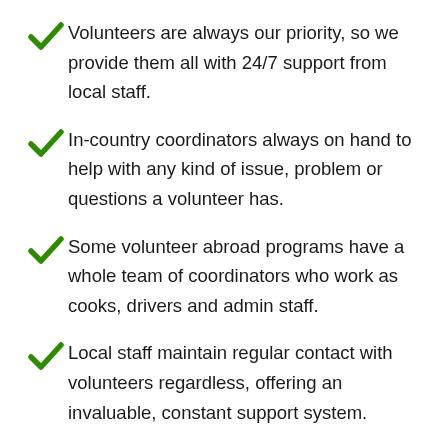Volunteers are always our priority, so we provide them all with 24/7 support from local staff.
In-country coordinators always on hand to help with any kind of issue, problem or questions a volunteer has.
Some volunteer abroad programs have a whole team of coordinators who work as cooks, drivers and admin staff.
Local staff maintain regular contact with volunteers regardless, offering an invaluable, constant support system.
Guaranteed lowest program fees in the US –